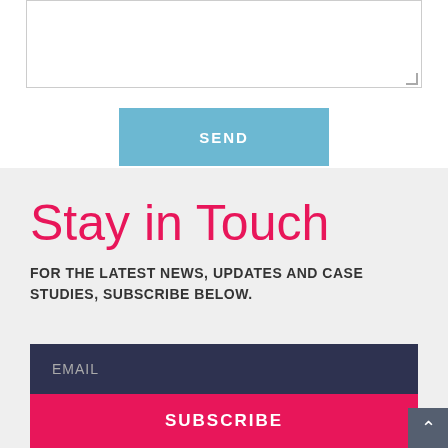[Figure (screenshot): A text area input box with a border and resize handle at bottom right]
SEND
Stay in Touch
FOR THE LATEST NEWS, UPDATES AND CASE STUDIES, SUBSCRIBE BELOW.
EMAIL
SUBSCRIBE